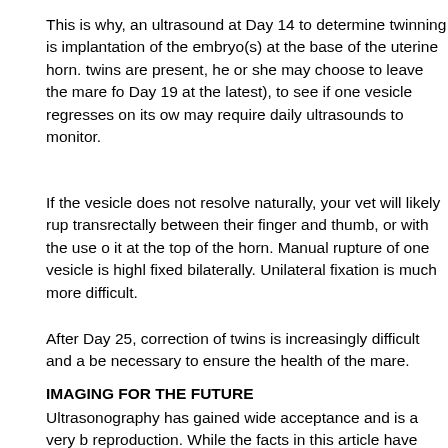This is why, an ultrasound at Day 14 to determine twinning is implantation of the embryo(s) at the base of the uterine horn. twins are present, he or she may choose to leave the mare fo Day 19 at the latest), to see if one vesicle regresses on its ow may require daily ultrasounds to monitor.
If the vesicle does not resolve naturally, your vet will likely rup transrectally between their finger and thumb, or with the use it at the top of the horn. Manual rupture of one vesicle is highl fixed bilaterally. Unilateral fixation is much more difficult.
After Day 25, correction of twins is increasingly difficult and a be necessary to ensure the health of the mare.
IMAGING FOR THE FUTURE
Ultrasonography has gained wide acceptance and is a very b reproduction. While the facts in this article have mostly detaile ultrasound imaging can also be very beneficial for monitoring